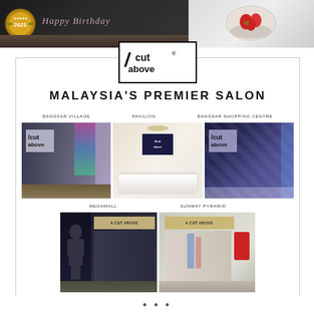[Figure (photo): Two photos side by side at top: left shows a dark cake with a 2021 award badge and 'Happy Birthday' text; right shows a strawberry dessert on a plate]
[Figure (infographic): A Cut Above salon advertisement showing the logo, 'Malaysia's Premier Salon' text, and photos of five salon locations: Bangsar Village, Pavilion, Bangsar Shopping Centre, Megamall, and Sunway Pyramid]
MALAYSIA'S PREMIER SALON
BANGSAR VILLAGE
PAVILION
BANGSAR SHOPPING CENTRE
MEGAMALL
SUNWAY PYRAMID